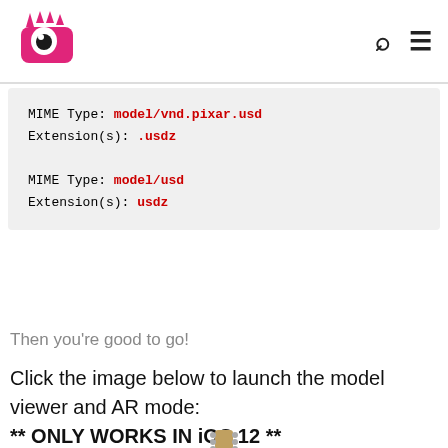[Logo: pink monster pixel art] [search icon] [menu icon]
MIME Type: model/vnd.pixar.usd
Extension(s): .usdz

MIME Type: model/usd
Extension(s): usdz
Then you're good to go!
Click the image below to launch the model viewer and AR mode:
** ONLY WORKS IN iOS 12 **
[Figure (photo): A red electric guitar (Fender Stratocaster style) displayed vertically]